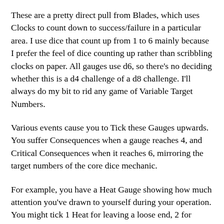These are a pretty direct pull from Blades, which uses Clocks to count down to success/failure in a particular area. I use dice that count up from 1 to 6 mainly because I prefer the feel of dice counting up rather than scribbling clocks on paper. All gauges use d6, so there's no deciding whether this is a d4 challenge of a d8 challenge. I'll always do my bit to rid any game of Variable Target Numbers.
Various events cause you to Tick these Gauges upwards. You suffer Consequences when a gauge reaches 4, and Critical Consequences when it reaches 6, mirroring the target numbers of the core dice mechanic.
For example, you have a Heat Gauge showing how much attention you've drawn to yourself during your operation. You might tick 1 Heat for leaving a loose end, 2 for drawing attention to yourself, or 3 for causing an actual commotion. When that gauge reaches 4 it means the location is now on alert. They know somebody is here, but they don't know exactly what your plan is. When the gauge hits 6 then it's Critical Consequence time. In this case they're onto you,